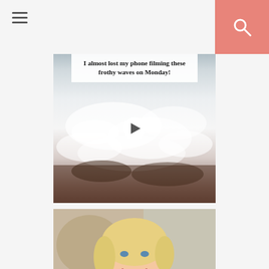[Figure (screenshot): Hamburger menu icon (three horizontal lines) in the top-left corner of the page header]
[Figure (screenshot): Pink/salmon colored search button with white magnifying glass icon in the top-right corner]
[Figure (photo): Ocean wave photo with frothy white waves crashing over dark rocks. A white text overlay at the top reads 'I almost lost my phone filming these frothy waves on Monday!' with a play button in the center indicating a video.]
[Figure (photo): Portrait photo of a smiling blonde woman wearing an orange cardigan over a dark top, with a colorful necklace, holding a drink with a slice of citrus on top, seated in what appears to be a hotel lobby or lounge.]